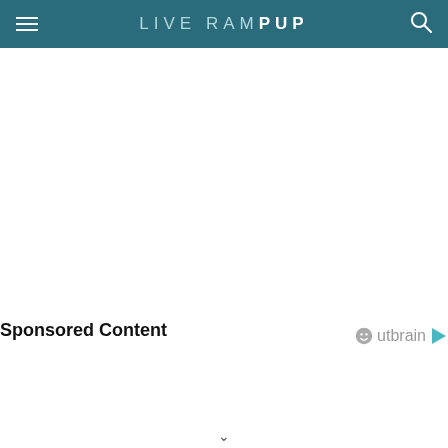LIVE RAMP UP
Sponsored Content
[Figure (logo): Outbrain logo with circular face icon and play button arrow]
v